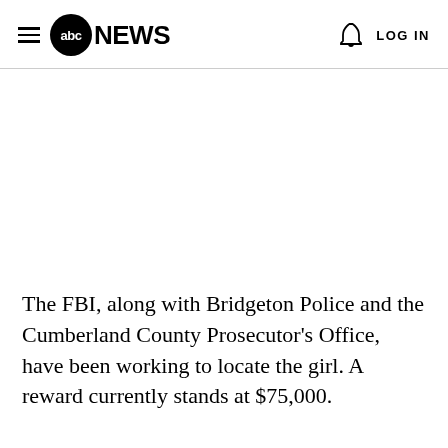abc NEWS   LOG IN
The FBI, along with Bridgeton Police and the Cumberland County Prosecutor's Office, have been working to locate the girl. A reward currently stands at $75,000.